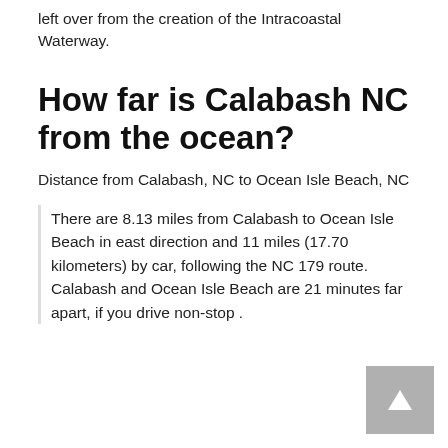left over from the creation of the Intracoastal Waterway.
How far is Calabash NC from the ocean?
Distance from Calabash, NC to Ocean Isle Beach, NC
There are 8.13 miles from Calabash to Ocean Isle Beach in east direction and 11 miles (17.70 kilometers) by car, following the NC 179 route. Calabash and Ocean Isle Beach are 21 minutes far apart, if you drive non-stop .